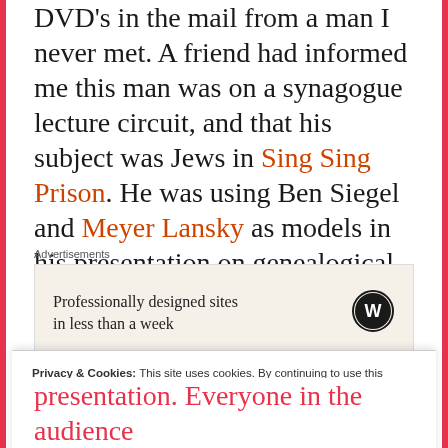DVD's in the mail from a man I never met. A friend had informed me this man was on a synagogue lecture circuit, and that his subject was Jews in Sing Sing Prison. He was using Ben Siegel and Meyer Lansky as models in his presentation on genealogical research.
[Figure (other): Advertisement box with text 'Professionally designed sites in less than a week' and WordPress logo]
Privacy & Cookies: This site uses cookies. By continuing to use this website, you agree to their use. To find out more, including how to control cookies, see here: Cookie Policy
presentation. Everyone in the audience